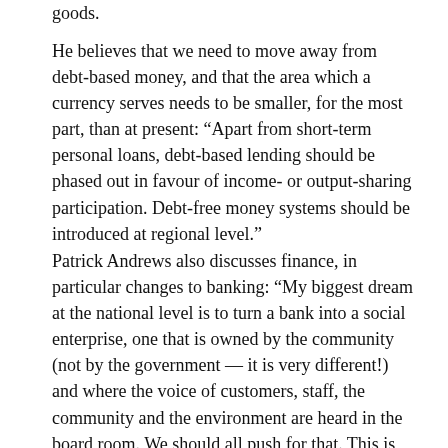goods.
He believes that we need to move away from debt-based money, and that the area which a currency serves needs to be smaller, for the most part, than at present: “Apart from short-term personal loans, debt-based lending should be phased out in favour of income- or output-sharing participation. Debt-free money systems should be introduced at regional level.”
Patrick Andrews also discusses finance, in particular changes to banking: “My biggest dream at the national level is to turn a bank into a social enterprise, one that is owned by the community (not by the government — it is very different!) and where the voice of customers, staff, the community and the environment are heard in the board room. We should all push for that. This is not an easy thing